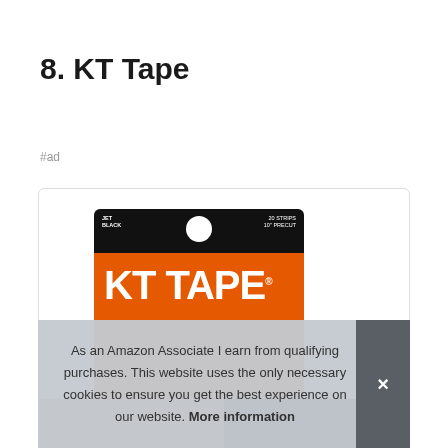8. KT Tape
#ad
[Figure (photo): KT Tape product package - black and orange kinesiology therapeutic tape packaging showing 'JET BLACK' color, '20 STRIPS 10" PRECUT', with large KT TAPE logo on orange background, hang hole at top]
As an Amazon Associate I earn from qualifying purchases. This website uses the only necessary cookies to ensure you get the best experience on our website. More information